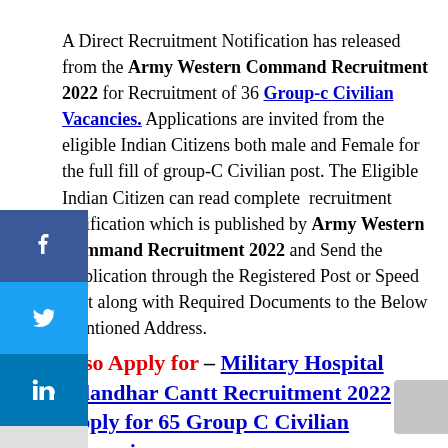A Direct Recruitment Notification has released from the Army Western Command Recruitment 2022 for Recruitment of 36 Group-c Civilian Vacancies. Applications are invited from the eligible Indian Citizens both male and Female for the full fill of group-C Civilian post. The Eligible Indian Citizen can read complete recruitment notification which is published by Army Western Command Recruitment 2022 and Send the Application through the Registered Post or Speed Post along with Required Documents to the Below Mentioned Address.
Also Apply for – Military Hospital Jalandhar Cantt Recruitment 2022 Apply for 65 Group C Civilian Vacancies.